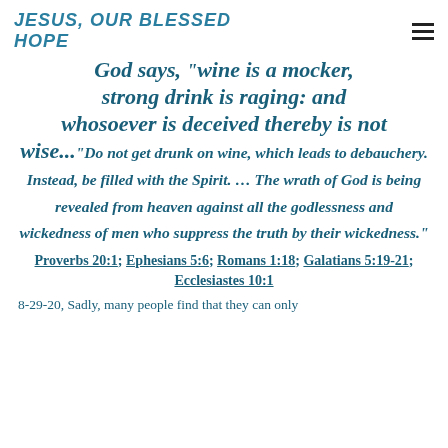JESUS, OUR BLESSED HOPE
God says, "wine is a mocker, strong drink is raging: and whosoever is deceived thereby is not wise..."Do not get drunk on wine, which leads to debauchery. Instead, be filled with the Spirit. ... The wrath of God is being revealed from heaven against all the godlessness and wickedness of men who suppress the truth by their wickedness."
Proverbs 20:1; Ephesians 5:6; Romans 1:18; Galatians 5:19-21; Ecclesiastes 10:1
8-29-20, Sadly, many people find that they can only